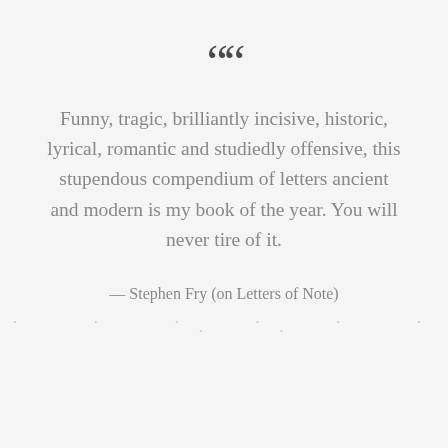““
Funny, tragic, brilliantly incisive, historic, lyrical, romantic and studiedly offensive, this stupendous compendium of letters ancient and modern is my book of the year. You will never tire of it.
— Stephen Fry (on Letters of Note)